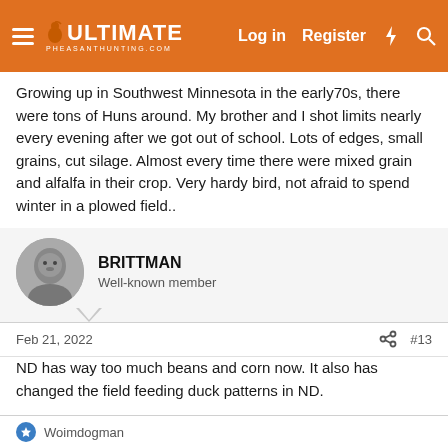ULTIMATE PHEASANTHUNTING.COM — Log in  Register
Growing up in Southwest Minnesota in the early70s, there were tons of Huns around. My brother and I shot limits nearly every evening after we got out of school. Lots of edges, small grains, cut silage. Almost every time there were mixed grain and alfalfa in their crop. Very hardy bird, not afraid to spend winter in a plowed field..
BRITTMAN
Well-known member
Feb 21, 2022
#13
ND has way too much beans and corn now. It also has changed the field feeding duck patterns in ND.
I do not believe Huns benefit much from expansive CRP either, too much tall grass and no edges.
Woimdogman